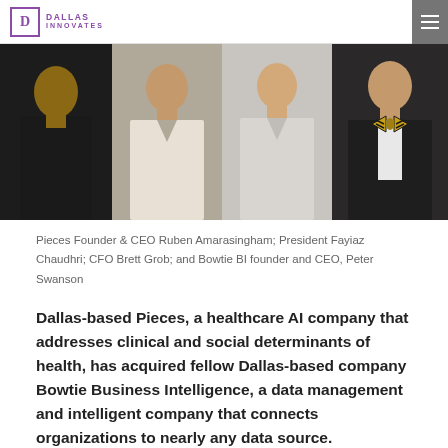DALLAS INNOVATES
[Figure (photo): Four men photographed from chest up in a horizontal strip: first in black shirt on dark background, second in white dress shirt on light background, third in white checkered shirt on light background, fourth in black suit with gold/black striped bow tie]
Pieces Founder & CEO Ruben Amarasingham; President Fayiaz Chaudhri; CFO Brett Grob; and Bowtie BI founder and CEO, Peter Swanson
Dallas-based Pieces, a healthcare AI company that addresses clinical and social determinants of health, has acquired fellow Dallas-based company Bowtie Business Intelligence, a data management and intelligent company that connects organizations to nearly any data source.
Pieces aims to help organizations streamline clinician workflows and improve patient outcomes. Its